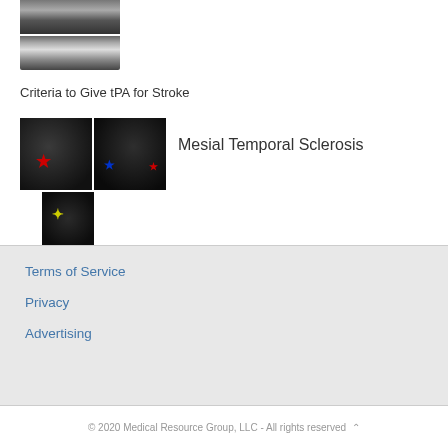[Figure (photo): Two brain CT/MRI scan images stacked vertically at the top left of the page]
Criteria to Give tPA for Stroke
[Figure (photo): Brain MRI images showing Mesial Temporal Sclerosis: two coronal views side by side with colored markers (red star, blue marker, red marker), and one axial view below with yellow highlight]
Mesial Temporal Sclerosis
Terms of Service
Privacy
Advertising
© 2020 Medical Resource Group, LLC - All rights reserved